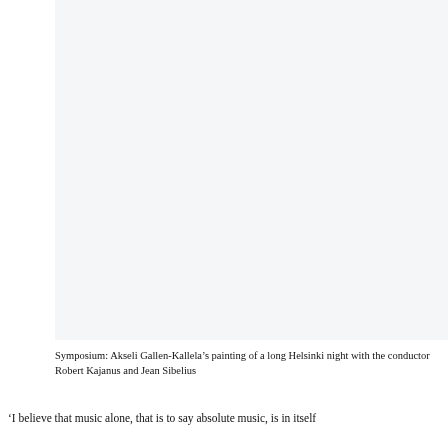[Figure (photo): A painting or illustration area (Symposium by Akseli Gallen-Kallela), shown as a light blank/white-gray region as the image content is not visible in this rendering.]
Symposium: Akseli Gallen-Kallela’s painting of a long Helsinki night with the conductor Robert Kajanus and Jean Sibelius
‘I believe that music alone, that is to say absolute music, is in itself